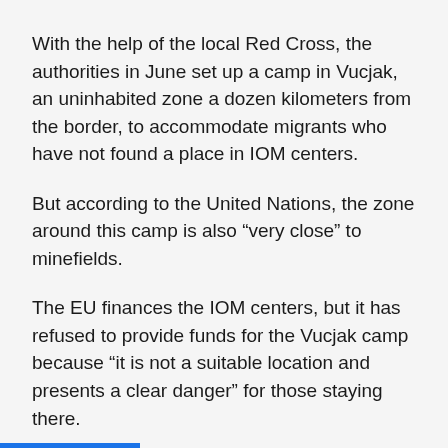With the help of the local Red Cross, the authorities in June set up a camp in Vucjak, an uninhabited zone a dozen kilometers from the border, to accommodate migrants who have not found a place in IOM centers.
But according to the United Nations, the zone around this camp is also “very close” to minefields.
The EU finances the IOM centers, but it has refused to provide funds for the Vucjak camp because “it is not a suitable location and presents a clear danger” for those staying there.